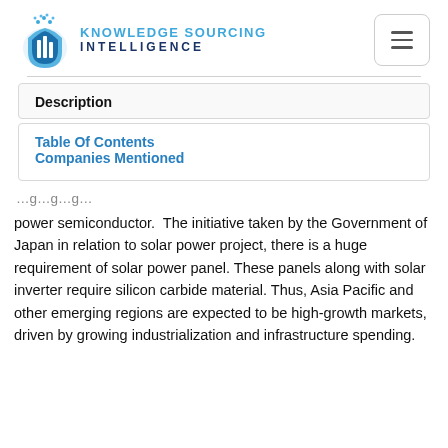[Figure (logo): Knowledge Sourcing Intelligence logo with blue building/shield icon and text]
Description
Table Of Contents
Companies Mentioned
power semiconductor.  The initiative taken by the Government of Japan in relation to solar power project, there is a huge requirement of solar power panel. These panels along with solar inverter require silicon carbide material. Thus, Asia Pacific and other emerging regions are expected to be high-growth markets, driven by growing industrialization and infrastructure spending.